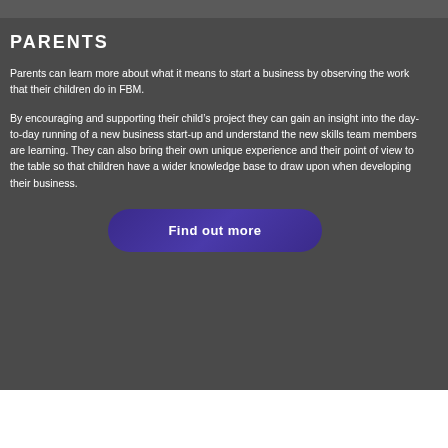[Figure (photo): Photo strip at the top showing people/students]
PARENTS
Parents can learn more about what it means to start a business by observing the work that their children do in FBM.
By encouraging and supporting their child’s project they can gain an insight into the day-to-day running of a new business start-up and understand the new skills team members are learning. They can also bring their own unique experience and their point of view to the table so that children have a wider knowledge base to draw upon when developing their business.
Find out more